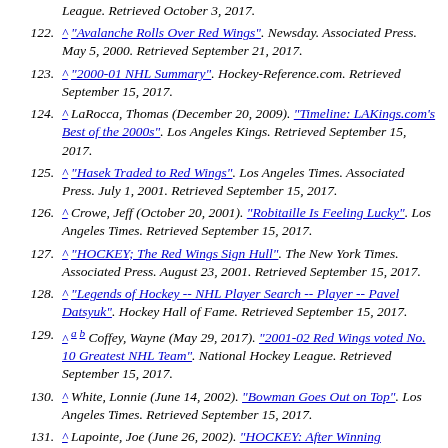(continuation) League. Retrieved October 3, 2017.
122. ^ "Avalanche Rolls Over Red Wings". Newsday. Associated Press. May 5, 2000. Retrieved September 21, 2017.
123. ^ "2000-01 NHL Summary". Hockey-Reference.com. Retrieved September 15, 2017.
124. ^ LaRocca, Thomas (December 20, 2009). "Timeline: LAKings.com's Best of the 2000s". Los Angeles Kings. Retrieved September 15, 2017.
125. ^ "Hasek Traded to Red Wings". Los Angeles Times. Associated Press. July 1, 2001. Retrieved September 15, 2017.
126. ^ Crowe, Jeff (October 20, 2001). "Robitaille Is Feeling Lucky". Los Angeles Times. Retrieved September 15, 2017.
127. ^ "HOCKEY; The Red Wings Sign Hull". The New York Times. Associated Press. August 23, 2001. Retrieved September 15, 2017.
128. ^ "Legends of Hockey -- NHL Player Search -- Player -- Pavel Datsyuk". Hockey Hall of Fame. Retrieved September 15, 2017.
129. ^ a b Coffey, Wayne (May 29, 2017). "2001-02 Red Wings voted No. 10 Greatest NHL Team". National Hockey League. Retrieved September 15, 2017.
130. ^ White, Lonnie (June 14, 2002). "Bowman Goes Out on Top". Los Angeles Times. Retrieved September 15, 2017.
131. ^ Lapointe, Joe (June 26, 2002). "HOCKEY: After Winning..."